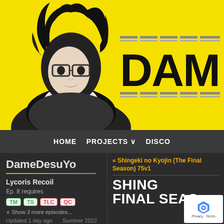[Figure (illustration): Yellow background banner with black and white anime-style character (person with glasses and messy hair in a dark jacket) on the left, and the DAME logo (bold block letters with horizontal lines above and below) on the right]
HOME  PROJECTS ∨  DISCO
DameDesuYo
Lycoris Recoil
Ep. 8 requires
TM  TS  TLC  QC
∨ Show 3 more episodes...
Updated 1 day ago
Summer 2022
« Shingeki no Kyojin (The Final Season) 75v1
SHING
FINAL SEAS